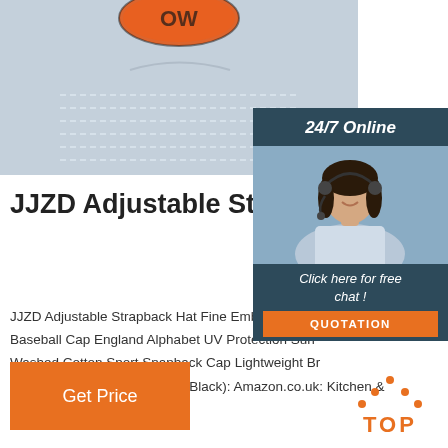[Figure (photo): Close-up photo of a light blue/grey fabric cap with embroidered orange patch at top, showing stitching details]
[Figure (photo): 24/7 Online customer service panel with woman wearing headset, dark blue background, with 'Click here for free chat!' text and orange QUOTATION button]
JJZD Adjustable Strapbac Fine Embroidered Letter ...
JJZD Adjustable Strapback Hat Fine Embroidered L Baseball Cap England Alphabet UV Protection Sun Washed Cotton Sport Snapback Cap Lightweight Br Outdoor Running Hat (Color : Black): Amazon.co.uk: Kitchen & Home
[Figure (illustration): Orange 'Get Price' button]
[Figure (illustration): Orange TOP icon with dots forming triangle above the word TOP]